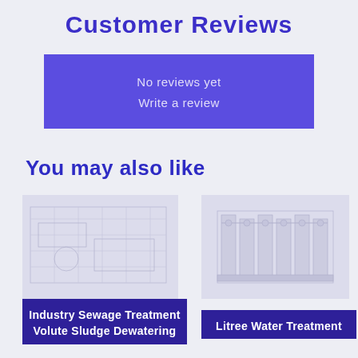Customer Reviews
No reviews yet
Write a review
You may also like
[Figure (photo): Faded/watermarked product image of Industry Sewage Treatment Volute Sludge Dewatering machine - left product]
[Figure (photo): Faded/watermarked product image of Litree Water Treatment system - right product]
Industry Sewage Treatment Volute Sludge Dewatering
Litree Water Treatment